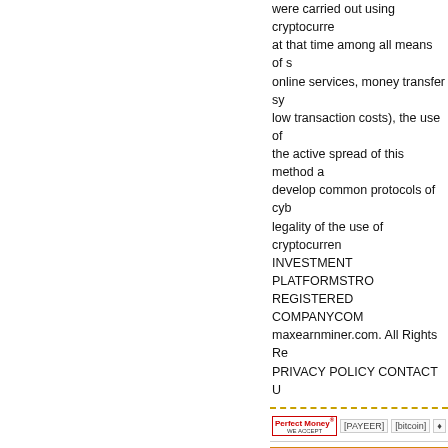were carried out using cryptocurrencies at that time among all means of s... online services, money transfer sy... low transaction costs), the use of ... the active spread of this method a... develop common protocols of cyb... legality of the use of cryptocurren... INVESTMENT PLATFORMSTRO... REGISTERED COMPANYCOMО... maxearnminer.com. All Rights Re... PRIVACY POLICY CONTACT US...
[Figure (logo): Payment icons row: Perfect Money (WE ACCEPT), PAYEER, bitcoin, and another crypto icon]
longloan.ltd
[Figure (screenshot): longloan.ltd website screenshot thumbnail with monitor tracking icons]
WAITING
0.2% - 5% (deposit re... after 10 da... Withdrawal:
Min/Max: $20...
Referral: 3%
Withdrawal: M...
[Figure (logo): Payment icons row: Perfect Money (WE ACCEPT), PAYEER, bitcoin, and another crypto icon]